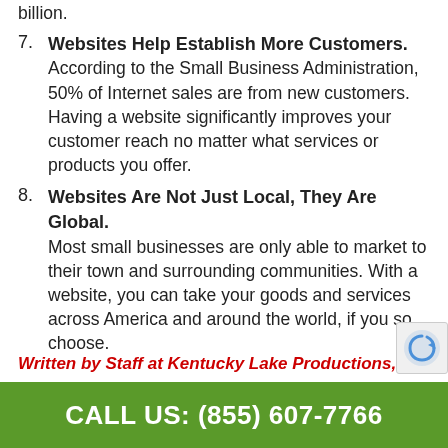billion.
7. Websites Help Establish More Customers. According to the Small Business Administration, 50% of Internet sales are from new customers. Having a website significantly improves your customer reach no matter what services or products you offer.
8. Websites Are Not Just Local, They Are Global. Most small businesses are only able to market to their town and surrounding communities. With a website, you can take your goods and services across America and around the world, if you so choose.
Written by Staff at Kentucky Lake Productions,
CALL US: (855) 607-7766